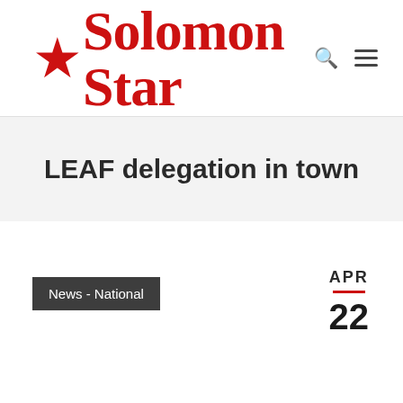Solomon Star
LEAF delegation in town
News - National
APR 22